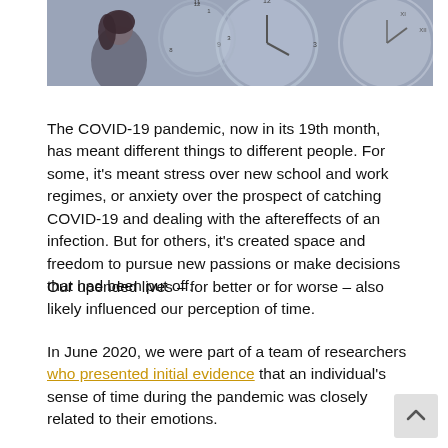[Figure (photo): A woman's silhouette against a backdrop of overlapping clock faces showing various times, in muted blue-grey tones.]
The COVID-19 pandemic, now in its 19th month, has meant different things to different people. For some, it's meant stress over new school and work regimes, or anxiety over the prospect of catching COVID-19 and dealing with the aftereffects of an infection. But for others, it's created space and freedom to pursue new passions or make decisions that had been put off.
Our upended lives – for better or for worse – also likely influenced our perception of time.
In June 2020, we were part of a team of researchers who presented initial evidence that an individual's sense of time during the pandemic was closely related to their emotions.